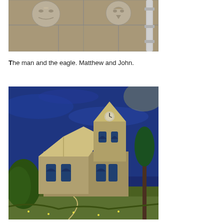[Figure (photo): Stone relief carvings of two faces (man and eagle) on a church wall, with a drainpipe visible on the right side.]
The man and the eagle. Matthew and John.
[Figure (photo): A reproduction or display of Van Gogh's painting 'The Church at Auvers', showing a Gothic church with deep blue sky, illuminated on what appears to be a large screen or projection.]
Now, from the church we take a path to the right, to the edge of the village. Where the wheat fields